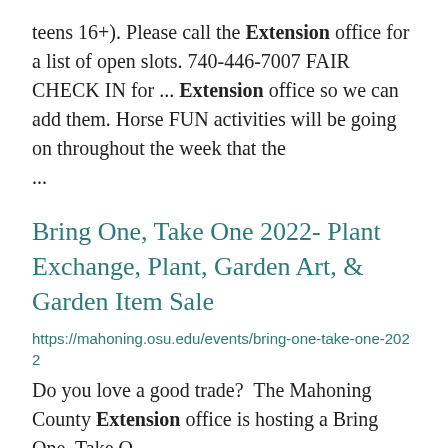teens 16+). Please call the Extension office for a list of open slots. 740-446-7007 FAIR CHECK IN for ... Extension office so we can add them. Horse FUN activities will be going on throughout the week that the ...
Bring One, Take One 2022- Plant Exchange, Plant, Garden Art, & Garden Item Sale
https://mahoning.osu.edu/events/bring-one-take-one-2022
Do you love a good trade? The Mahoning County Extension office is hosting a Bring One, Take One...